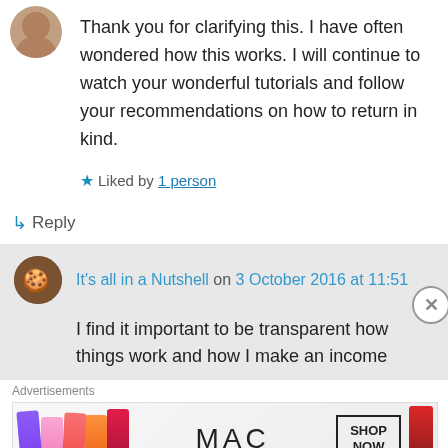[Figure (photo): Partial avatar image of a commenter at top left]
Thank you for clarifying this. I have often wondered how this works. I will continue to watch your wonderful tutorials and follow your recommendations on how to return in kind.
Liked by 1 person
↳ Reply
It's all in a Nutshell on 3 October 2016 at 11:51
[Figure (photo): Avatar icon for It's all in a Nutshell commenter]
I find it important to be transparent how things work and how I make an income
Advertisements
[Figure (photo): MAC cosmetics advertisement banner showing lipsticks with SHOP NOW button]